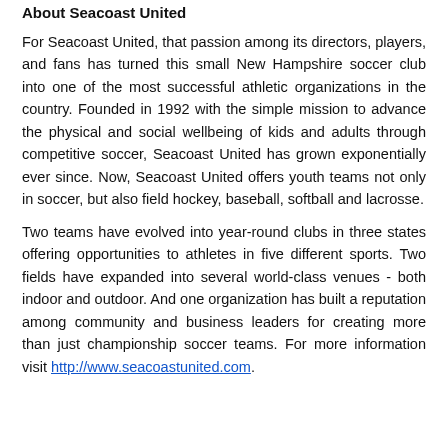About Seacoast United
For Seacoast United, that passion among its directors, players, and fans has turned this small New Hampshire soccer club into one of the most successful athletic organizations in the country. Founded in 1992 with the simple mission to advance the physical and social wellbeing of kids and adults through competitive soccer, Seacoast United has grown exponentially ever since. Now, Seacoast United offers youth teams not only in soccer, but also field hockey, baseball, softball and lacrosse.
Two teams have evolved into year-round clubs in three states offering opportunities to athletes in five different sports. Two fields have expanded into several world-class venues - both indoor and outdoor. And one organization has built a reputation among community and business leaders for creating more than just championship soccer teams. For more information visit http://www.seacoastunited.com.